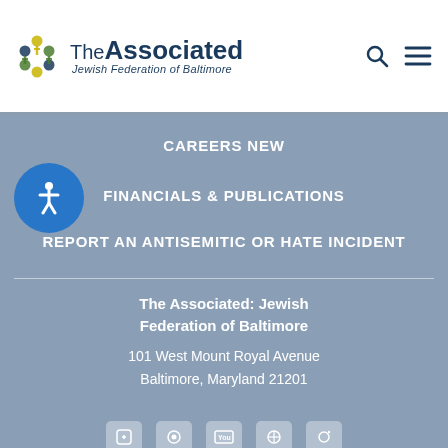The Associated: Jewish Federation of Baltimore
CAREERS NEW
FINANCIALS & PUBLICATIONS
REPORT AN ANTISEMITIC OR HATE INCIDENT
The Associated: Jewish Federation of Baltimore
101 West Mount Royal Avenue
Baltimore, Maryland 21201